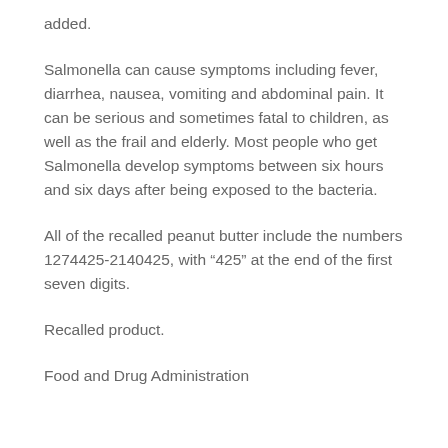added.
Salmonella can cause symptoms including fever, diarrhea, nausea, vomiting and abdominal pain. It can be serious and sometimes fatal to children, as well as the frail and elderly. Most people who get Salmonella develop symptoms between six hours and six days after being exposed to the bacteria.
All of the recalled peanut butter include the numbers 1274425-2140425, with “425” at the end of the first seven digits.
Recalled product.
Food and Drug Administration